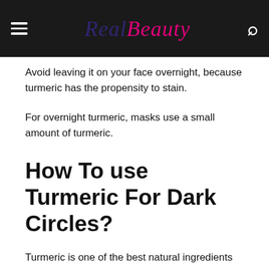RealBeauty
Avoid leaving it on your face overnight, because turmeric has the propensity to stain.
For overnight turmeric, masks use a small amount of turmeric.
How To use Turmeric For Dark Circles?
Turmeric is one of the best natural ingredients to get rid of dark circles.
Get rid of dark circles